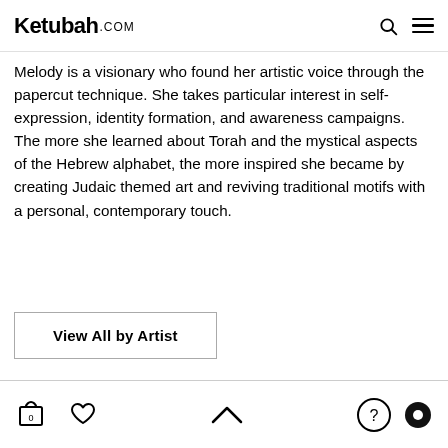Ketubah.com
Melody is a visionary who found her artistic voice through the papercut technique. She takes particular interest in self-expression, identity formation, and awareness campaigns. The more she learned about Torah and the mystical aspects of the Hebrew alphabet, the more inspired she became by creating Judaic themed art and reviving traditional motifs with a personal, contemporary touch.
View All by Artist
0 (cart) | (heart) | (up arrow) | (?) | (circle)